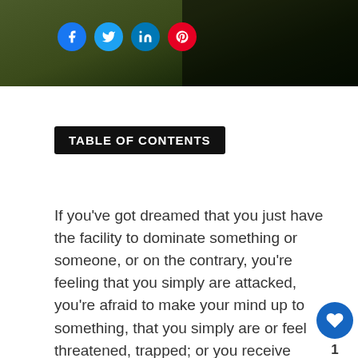[Figure (photo): Photo of a dark animal (possibly a crow or black cat) against a green background, with social media sharing icons (Facebook, Twitter, LinkedIn, Pinterest) overlaid on the left side]
TABLE OF CONTENTS
If you've got dreamed that you just have the facility to dominate something or someone, or on the contrary, you're feeling that you simply are attacked, you're afraid to make your mind up to something, that you simply are or feel threatened, trapped; or you receive complaints about something not done, dreaming with claws is that the way your feelings must